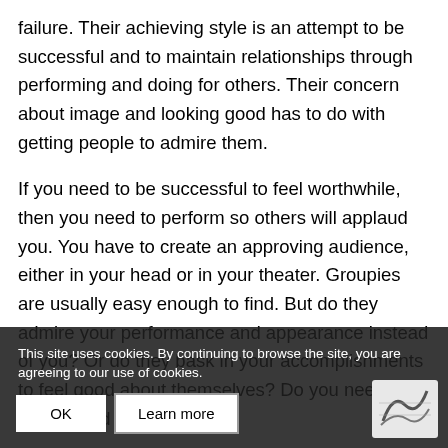failure. Their achieving style is an attempt to be successful and to maintain relationships through performing and doing for others. Their concern about image and looking good has to do with getting people to admire them.
If you need to be successful to feel worthwhile, then you need to perform so others will applaud you. You have to create an approving audience, either in your head or in your theater. Groupies are usually easy enough to find. But do they admire your performance and appearance instead of you? Or do they bask in your accomplishments to feel good about themselves? Do you need to be admired by them?
An overly achieving style frequently turns other people off or encourages them to interact with
This site uses cookies. By continuing to browse the site, you are agreeing to our use of cookies.